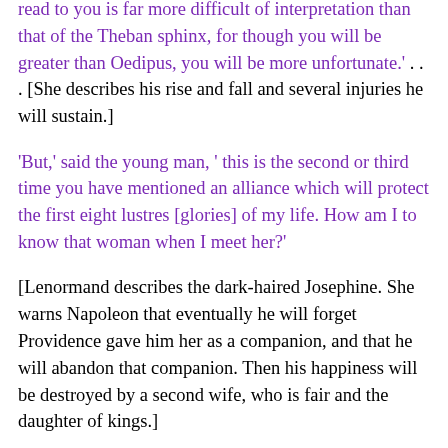read to you is far more difficult of interpretation than that of the Theban sphinx, for though you will be greater than Oedipus, you will be more unfortunate.' . . . [She describes his rise and fall and several injuries he will sustain.]
'But,' said the young man, ' this is the second or third time you have mentioned an alliance which will protect the first eight lustres [glories] of my life. How am I to know that woman when I meet her?'
[Lenormand describes the dark-haired Josephine. She warns Napoleon that eventually he will forget Providence gave him her as a companion, and that he will abandon that companion. Then his happiness will be destroyed by a second wife, who is fair and the daughter of kings.]
'You will be Alexander, you will be Caesar: you will be more than that,—you will be Atlas bearing the world on